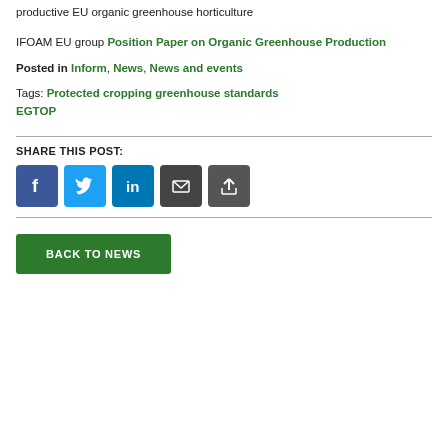productive EU organic greenhouse horticulture
IFOAM EU group Position Paper on Organic Greenhouse Production
Posted in Inform, News, News and events
Tags: Protected cropping greenhouse standards EGTOP
SHARE THIS POST:
[Figure (infographic): Social media sharing icons: Facebook, Twitter, LinkedIn, Email, Share (plus)]
BACK TO NEWS